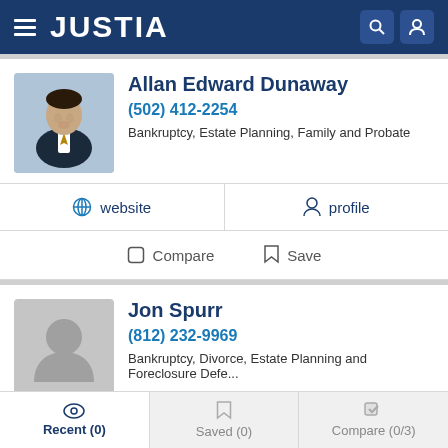JUSTIA
Allan Edward Dunaway
(502) 412-2254
Bankruptcy, Estate Planning, Family and Probate
website  profile
Compare  Save
Jon Spurr
(812) 232-9969
Bankruptcy, Divorce, Estate Planning and Foreclosure Defe...
website  profile  email
Recent (0)  Saved (0)  Compare (0/3)